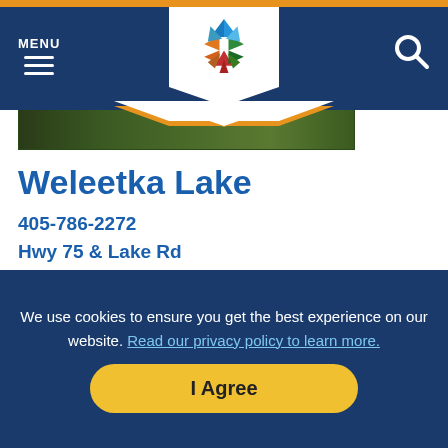MENU navigation bar with hamburger icon, logo, and search icon
[Figure (logo): Oklahoma state park colorful star/pinwheel logo badge with orange border]
Weleetka Lake
405-786-2272
Hwy 75 & Lake Rd
Weleetka, OK 74880
Boat ramp, picnic area, outdoor grills and group facilities. Great day use lake.
LEARN MORE >
We use cookies to ensure you get the best experience on our website. Read our privacy policy to learn more. I Agree